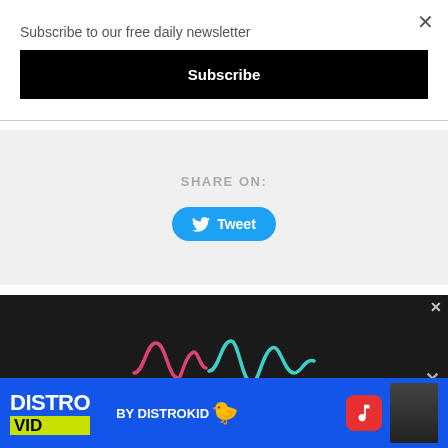Subscribe to our free daily newsletter
Subscribe
SHARE ON:
Tweet
[Figure (screenshot): Dark advertisement with colored waveform graphic and Distrovid by Distrokid banner at bottom]
DISTRO VID BY DISTROKID